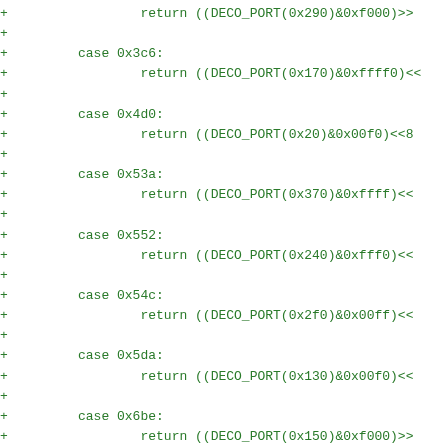+                 return ((DECO_PORT(0x290)&0xf000)>>
+
+         case 0x3c6:
+                 return ((DECO_PORT(0x170)&0xffff0)<<
+
+         case 0x4d0:
+                 return ((DECO_PORT(0x20)&0x00f0)<<8
+
+         case 0x53a:
+                 return ((DECO_PORT(0x370)&0xffff)<<
+
+         case 0x552:
+                 return ((DECO_PORT(0x240)&0xfff0)<<
+
+         case 0x54c:
+                 return ((DECO_PORT(0x2f0)&0x00ff)<<
+
+         case 0x5da:
+                 return ((DECO_PORT(0x130)&0x00f0)<<
+
+         case 0x6be:
+                 return ((DECO_PORT(0x150)&0xf000)>>
+
+         case 0x70a:
+                 return ((DECO_PORT(0x1d0)&0x0ff0)<<
+
+         case 0x7e0:
+                 return ((DECO_PORT(0x2b0)&0xfff0)<<
+
+         case 0x1de: